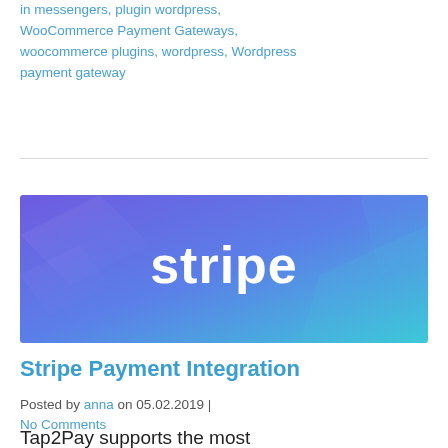in messengers, plugin wordpress, WooCommerce Payment Gateways, woocommerce plugins, wordpress, Wordpress payment gateway
[Figure (illustration): Stripe branded banner image with purple-blue gradient background and white 'stripe' text logo centered]
Stripe Payment Integration
Posted by anna on 05.02.2019 | No Comments
Tap2Pay supports the most